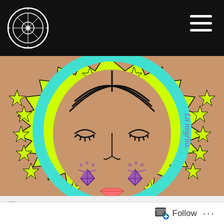Navigation bar with logo and hamburger menu
[Figure (illustration): Stylized illustration of a woman's face with closed eyes, decorative diamond tears on cheeks, pink lips, brown skin, surrounded by a teal circular halo and a lime green spiked border decorated with black stars. Text 'La negrita.' in purple on the right side. Artist signature visible.]
Leave a Comment
Posted on September 20, 2016 by ancestralapothecaryschool
Healing Dreams